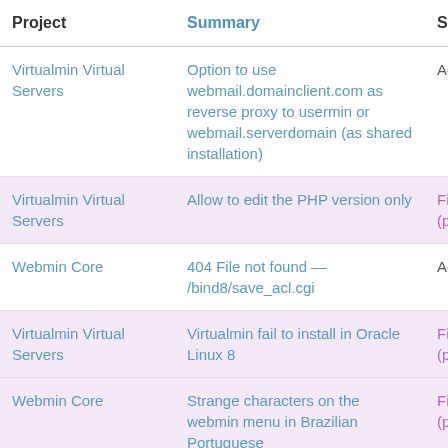| Project | Summary | Status | Category |
| --- | --- | --- | --- |
| Virtualmin Virtual Servers | Option to use webmail.domainclient.com as reverse proxy to usermin or webmail.serverdomain (as shared installation) | Active | Feature request |
| Virtualmin Virtual Servers | Allow to edit the PHP version only | Fixed (pending) | Bug report |
| Webmin Core | 404 File not found — /bind8/save_acl.cgi | Active | Bug report |
| Virtualmin Virtual Servers | Virtualmin fail to install in Oracle Linux 8 | Fixed (pending) | Support request |
| Webmin Core | Strange characters on the webmin menu in Brazilian Portuguese | Fixed (pending) | Bug report |